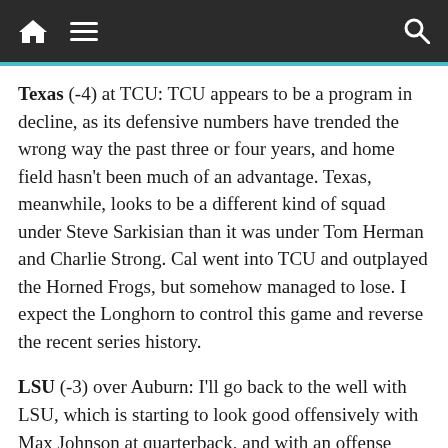Navigation bar with home, menu, and search icons
Texas (-4) at TCU: TCU appears to be a program in decline, as its defensive numbers have trended the wrong way the past three or four years, and home field hasn't been much of an advantage. Texas, meanwhile, looks to be a different kind of squad under Steve Sarkisian than it was under Tom Herman and Charlie Strong. Cal went into TCU and outplayed the Horned Frogs, but somehow managed to lose. I expect the Longhorn to control this game and reverse the recent series history.
LSU (-3) over Auburn: I'll go back to the well with LSU, which is starting to look good offensively with Max Johnson at quarterback, and with an offense designed by some of Joe Brady's underlings. Auburn quarterback Bo Nix has been poor against